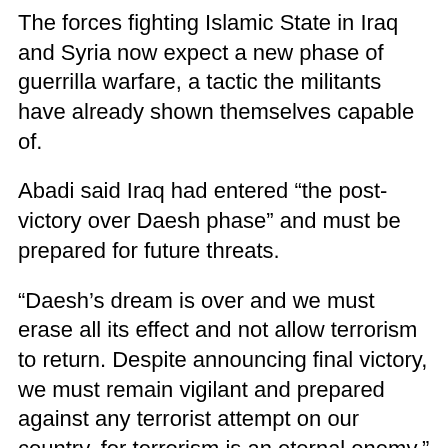The forces fighting Islamic State in Iraq and Syria now expect a new phase of guerrilla warfare, a tactic the militants have already shown themselves capable of.
Abadi said Iraq had entered “the post-victory over Daesh phase” and must be prepared for future threats.
“Daesh’s dream is over and we must erase all its effect and not allow terrorism to return. Despite announcing final victory, we must remain vigilant and prepared against any terrorist attempt on our country, for terrorism is an eternal enemy.”
The war has had a devastating impact on the areas controlled by the militants. About 3.2...